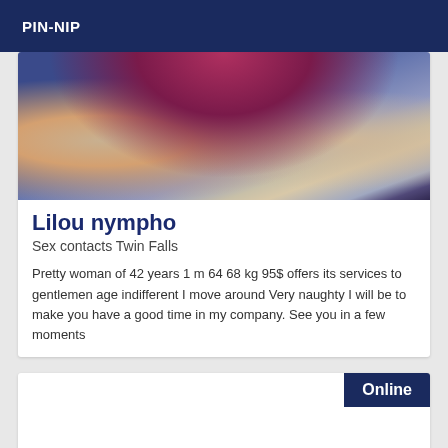PIN-NIP
[Figure (photo): Close-up photo of a person wearing blue lace lingerie, with skin visible, dark background]
Lilou nympho
Sex contacts Twin Falls
Pretty woman of 42 years 1 m 64 68 kg 95$ offers its services to gentlemen age indifferent I move around Very naughty I will be to make you have a good time in my company. See you in a few moments
Online